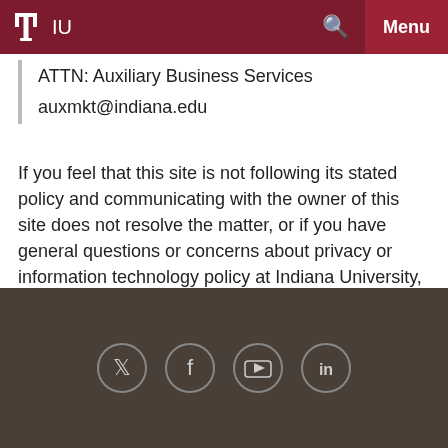IU | Menu
ATTN: Auxiliary Business Services
auxmkt@indiana.edu
If you feel that this site is not following its stated policy and communicating with the owner of this site does not resolve the matter, or if you have general questions or concerns about privacy or information technology policy at Indiana University, please contact the chief privacy officer through the University Information Policy Office, 812-855-UIPO, privacy@iu.edu.
Social media icons: Twitter, Facebook, YouTube, LinkedIn